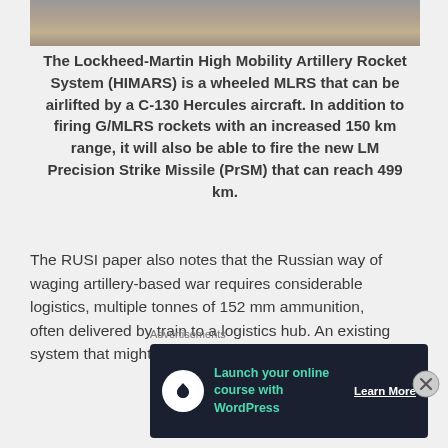[Figure (photo): Top portion of a military vehicle photograph, cropped — shows dark background with light-colored ground surface.]
The Lockheed-Martin High Mobility Artillery Rocket System (HIMARS) is a wheeled MLRS that can be airlifted by a C-130 Hercules aircraft. In addition to firing G/MLRS rockets with an increased 150 km range, it will also be able to fire the new LM Precision Strike Missile (PrSM) that can reach 499 km.
The RUSI paper also notes that the Russian way of waging artillery-based war requires considerable logistics, multiple tonnes of 152 mm ammunition, often delivered by train to a logistics hub. An existing system that might be well suited
Advertisements
[Figure (infographic): Advertisement banner: dark navy background with white circle logo containing a tree/person icon, teal bold text 'Launch your online course with WordPress', and white underlined 'Learn More' button.]